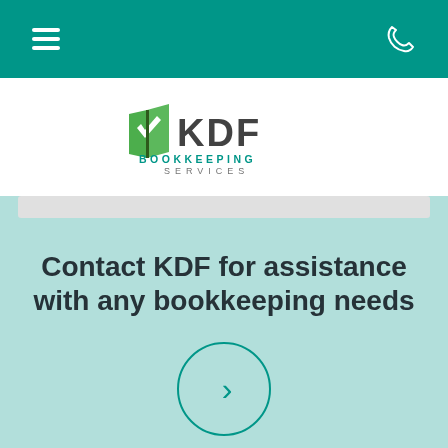[Figure (logo): KDF Bookkeeping Services logo with green book/envelope icon and gray text]
Contact KDF for assistance with any bookkeeping needs